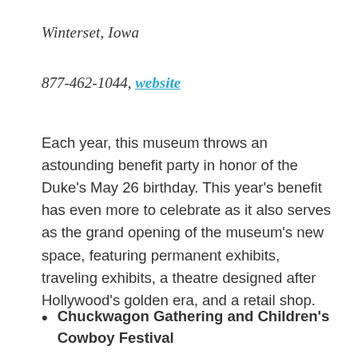Winterset, Iowa
877-462-1044, website
Each year, this museum throws an astounding benefit party in honor of the Duke's May 26 birthday. This year's benefit has even more to celebrate as it also serves as the grand opening of the museum's new space, featuring permanent exhibits, traveling exhibits, a theatre designed after Hollywood's golden era, and a retail shop.
Chuckwagon Gathering and Children's Cowboy Festival